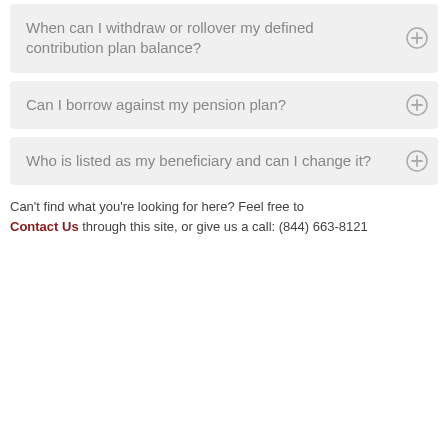When can I withdraw or rollover my defined contribution plan balance?
Can I borrow against my pension plan?
Who is listed as my beneficiary and can I change it?
Can't find what you're looking for here? Feel free to Contact Us through this site, or give us a call: (844) 663-8121